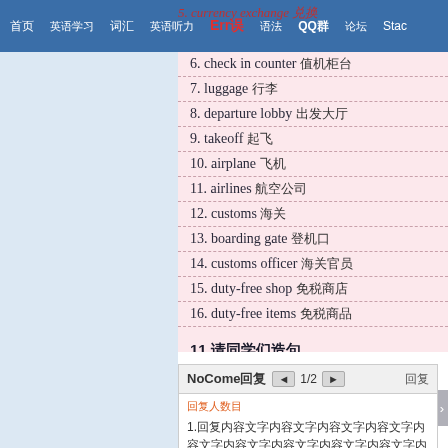首页 | 英语学习 | 词汇 | 英语听力 | Err误 | 语法 | QQ群 | 论坛 | Stac
6. check in counter 值机柜台
7. luggage 行李
8. departure lobby 出发大厅
9. takeoff 起飞
10. airplane 飞机
11. airlines 航空公司
12. customs 海关
13. boarding gate 登机口
14. customs officer 海关官员
15. duty-free shop 免税商店
16. duty-free items 免税商品
11.请同学们造句
NoCome回复 ◄ 1/2 ► 回复
回复人数目
1.回复内容文字内容文字内容文字内容文字内容文字内容文字内容文字内容文字内容文字内容 2.回复内容
更多 »